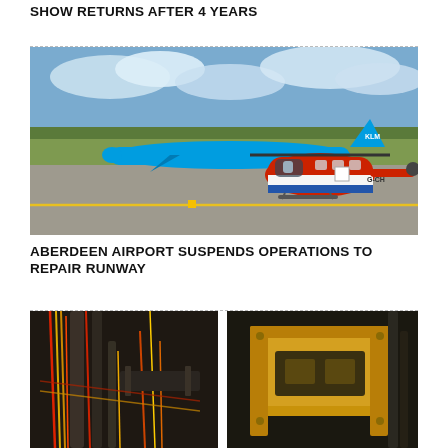SHOW RETURNS AFTER 4 YEARS
[Figure (photo): A red and white helicopter on an airport tarmac with a KLM blue aircraft in the background under a partly cloudy sky.]
ABERDEEN AIRPORT SUSPENDS OPERATIONS TO REPAIR RUNWAY
[Figure (photo): Close-up of industrial mechanical equipment — cables, pipes, and yellow machinery components in a dimly lit environment.]